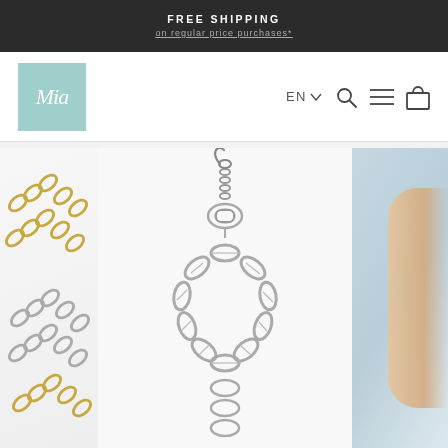FREE SHIPPING
on regular price purchases*
[Figure (logo): Mia jewelry brand logo — mint/teal square with italic script letter M]
EN ∨
[Figure (photo): Silver mariner chain bracelet with lobster clasp and extension chain, shown close-up against white background. Left side shows partial view of gold and silver chain necklaces. Right side shows partial view of arm with bracelet on light blue background.]